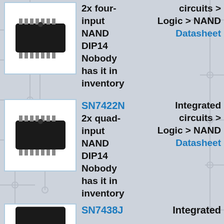[Figure (photo): DIP14 IC chip photo, black rectangular integrated circuit with metal pins on both sides, first item]
2x four-input NAND DIP14 Nobody has it in inventory
Integrated circuits > Logic > NAND
Datasheet
[Figure (photo): DIP14 IC chip photo, black rectangular integrated circuit with metal pins on both sides, SN7422N]
SN7422N
2x quad-input NAND DIP14 Nobody has it in inventory
Integrated circuits > Logic > NAND
Datasheet
[Figure (photo): DIP14 IC chip photo, black rectangular integrated circuit, SN7438J, partially visible at bottom]
SN7438J
Integrated